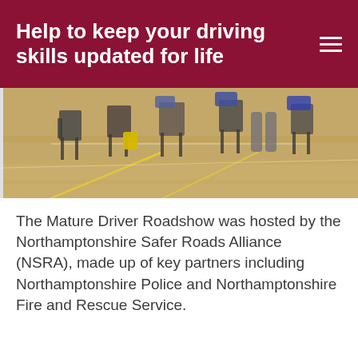Help to keep your driving skills updated for life
[Figure (photo): Indoor hall with rows of chairs on a wooden floor with yellow tape markings, people partially visible sitting and standing]
The Mature Driver Roadshow was hosted by the Northamptonshire Safer Roads Alliance (NSRA), made up of key partners including Northamptonshire Police and Northamptonshire Fire and Rescue Service.